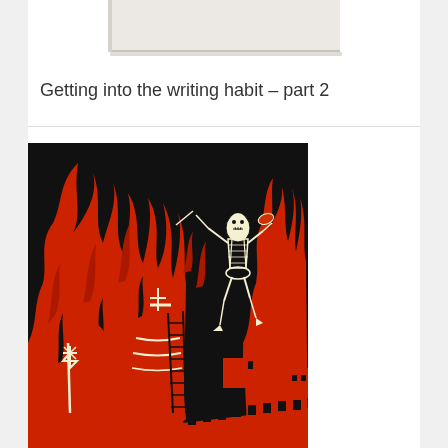[Figure (illustration): Partial view of a book cover at the top of the page, showing the lower portion of what appears to be a white/cream colored book cover against a white background.]
Getting into the writing habit – part 2
[Figure (illustration): A dramatic woodcut-style illustration in red, black, and cream/white. A skeleton plays the violin while floating above a burning medieval city. Below, robed religious figures hold crosses amid flames engulfing buildings and towers. The style is reminiscent of medieval 'danse macabre' or plague imagery.]